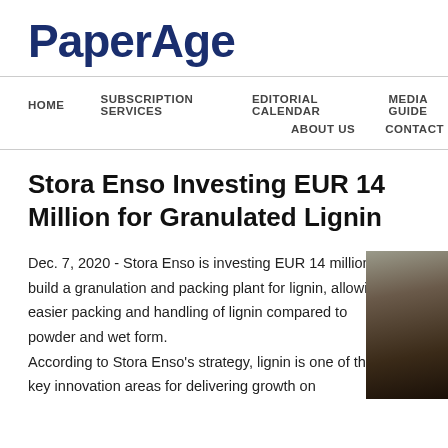PaperAge
HOME   SUBSCRIPTION SERVICES   EDITORIAL CALENDAR   MEDIA GUIDE   ABOUT US   CONTACT
Stora Enso Investing EUR 14 Million for Granulated Lignin
Dec. 7, 2020 - Stora Enso is investing EUR 14 million to build a granulation and packing plant for lignin, allowing easier packing and handling of lignin compared to powder and wet form. According to Stora Enso's strategy, lignin is one of the key innovation areas for delivering growth on
[Figure (photo): Close-up photograph of dark granulated lignin material]